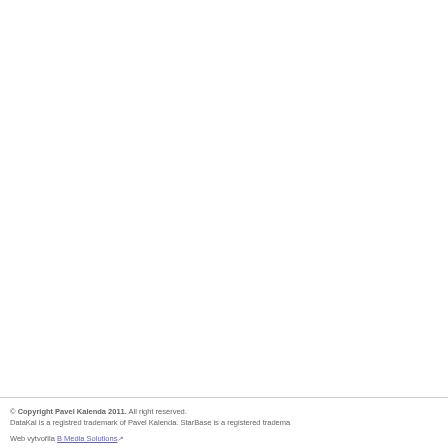© Copyright Pavel Kalenda 2011. All right reserved. DataKal is a registred trademark of Pavel Kalenda. StarBase is a registered tradema… Web vytvořila B Media Solutions